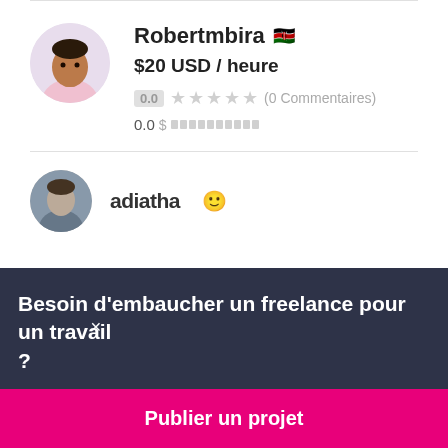[Figure (photo): Profile photo of Robertmbira, a man in a light pink shirt, circular avatar]
Robertmbira 🇰🇪
$20 USD / heure
0.0 ★★★★★ (0 Commentaires)
0.0 $ ▪▪▪▪▪▪▪▪▪▪
[Figure (photo): Partial profile photo of second freelancer, partially visible]
Besoin d'embaucher un freelance pour un travail ?
Publier un projet